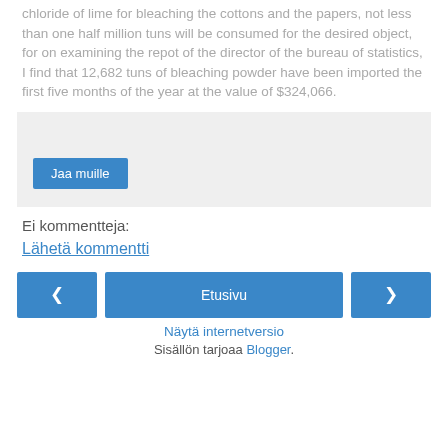chloride of lime for bleaching the cottons and the papers, not less than one half million tuns will be consumed for the desired object, for on examining the repot of the director of the bureau of statistics, I find that 12,682 tuns of bleaching powder have been imported the first five months of the year at the value of $324,066.
[Figure (other): Light grey share box with a blue 'Jaa muille' button]
Ei kommentteja:
Lähetä kommentti
[Figure (other): Navigation row with left arrow button, Etusivu (home) button, and right arrow button]
Näytä internetversio
Sisällön tarjoaa Blogger.